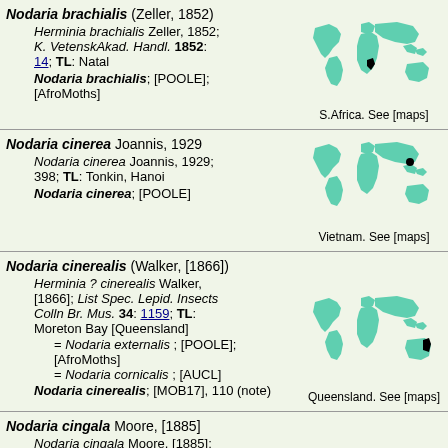Nodaria brachialis (Zeller, 1852) — Herminia brachialis Zeller, 1852; K. VetenskAkad. Handl. 1852: 14; TL: Natal — Nodaria brachialis; [POOLE]; [AfroMoths] — S.Africa. See [maps]
[Figure (map): World map showing distribution in S. Africa (black marker over southern Africa)]
Nodaria cinerea Joannis, 1929 — Nodaria cinerea Joannis, 1929; 398; TL: Tonkin, Hanoi — Nodaria cinerea; [POOLE] — Vietnam. See [maps]
[Figure (map): World map showing distribution in Vietnam (black marker over Southeast Asia)]
Nodaria cinerealis (Walker, [1866]) — Herminia ? cinerealis Walker, [1866]; List Spec. Lepid. Insects Colln Br. Mus. 34: 1159; TL: Moreton Bay [Queensland] — = Nodaria externalis; [POOLE]; [AfroMoths] — = Nodaria cornicalis; [AUCL] — Nodaria cinerealis; [MOB17], 110 (note) — Queensland. See [maps]
[Figure (map): World map showing distribution in Queensland, Australia (black marker over eastern Australia)]
Nodaria cingala Moore, [1885] — Nodaria cingala Moore, [1885]; Lepid. Ceylon 3 (2): 233; TL: Ceylon